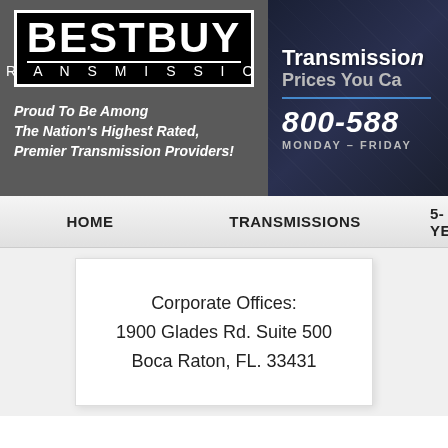[Figure (logo): Best Buy Transmission logo — black box with white bold text BESTBUY on top and TRANSMISSION below, on a gray background panel]
Proud To Be Among The Nation's Highest Rated, Premier Transmission Providers!
[Figure (screenshot): Right banner panel with dark blue/navy background showing text: Transmission[s] / Prices You Ca[n Trust] / 800-58[x-xxxx] / MONDAY - FRIDAY]
HOME | TRANSMISSIONS | 5-YE[AR WARRANTY]
Corporate Offices:
1900 Glades Rd. Suite 500
Boca Raton, FL. 33431